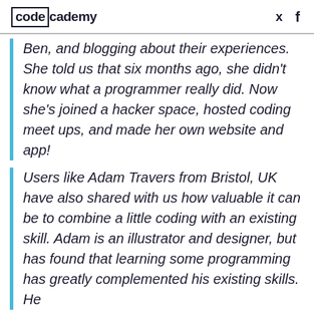codecademy
Ben, and blogging about their experiences. She told us that six months ago, she didn't know what a programmer really did. Now she's joined a hacker space, hosted coding meet ups, and made her own website and app!
Users like Adam Travers from Bristol, UK have also shared with us how valuable it can be to combine a little coding with an existing skill. Adam is an illustrator and designer, but has found that learning some programming has greatly complemented his existing skills. He